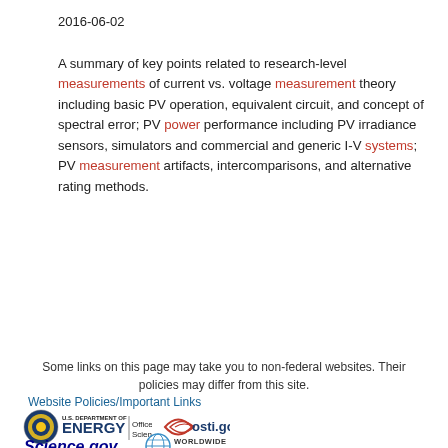2016-06-02
A summary of key points related to research-level measurements of current vs. voltage measurement theory including basic PV operation, equivalent circuit, and concept of spectral error; PV power performance including PV irradiance sensors, simulators and commercial and generic I-V systems; PV measurement artifacts, intercomparisons, and alternative rating methods.
« 1 2 3 4 5 »
Some links on this page may take you to non-federal websites. Their policies may differ from this site.
Website Policies/Important Links
[Figure (logo): U.S. Department of Energy / Office of Science logo, osti.gov logo, Science.gov logo, WorldWideScience.org logo]